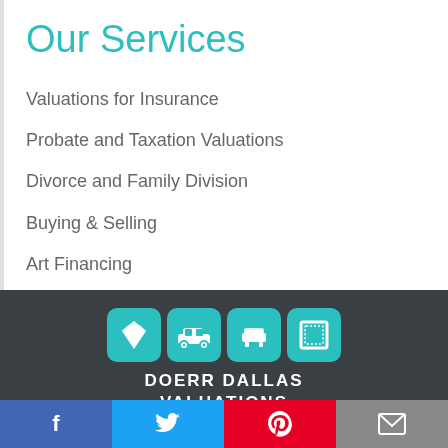Our Services
Valuations for Insurance
Probate and Taxation Valuations
Divorce and Family Division
Buying & Selling
Art Financing
Our Other Services
[Figure (logo): Doerr Dallas Valuations logo with four teal icon boxes showing a diamond, vintage car, armchair, and picture frame, with company name below in white text]
f  [twitter bird]  [pinterest P]  [envelope]